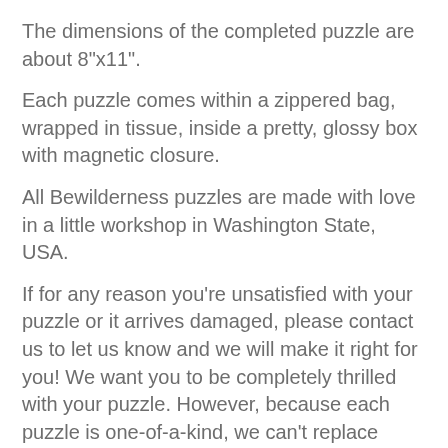The dimensions of the completed puzzle are about 8"x11".
Each puzzle comes within a zippered bag, wrapped in tissue, inside a pretty, glossy box with magnetic closure.
All Bewilderness puzzles are made with love in a little workshop in Washington State, USA.
If for any reason you're unsatisfied with your puzzle or it arrives damaged, please contact us to let us know and we will make it right for you! We want you to be completely thrilled with your puzzle. However, because each puzzle is one-of-a-kind, we can't replace missing pieces that happen over the course of ownership. So please watch those crafty dogs, kids, and couch cushions!